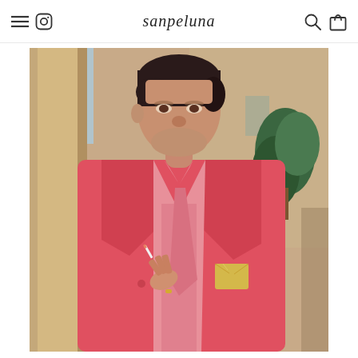sanpeluna
[Figure (photo): A man in a bright pink/coral suit jacket with a matching pink shirt and tie, holding a cigarette to his mouth. He has slicked-back dark hair. In the background are stone columns and a green topiary tree.]